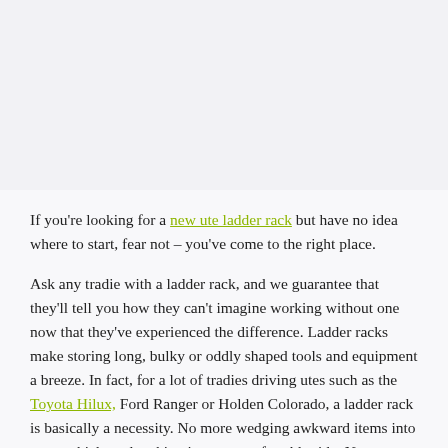[Figure (photo): Large image placeholder area at the top of the page, light gray background]
If you're looking for a new ute ladder rack but have no idea where to start, fear not – you've come to the right place.
Ask any tradie with a ladder rack, and we guarantee that they'll tell you how they can't imagine working without one now that they've experienced the difference. Ladder racks make storing long, bulky or oddly shaped tools and equipment a breeze. In fact, for a lot of tradies driving utes such as the Toyota Hilux, Ford Ranger or Holden Colorado, a ladder rack is basically a necessity. No more wedging awkward items into your vehicle and making it an uncomfortable ride. No more having unsecured equipment smashing against each other each time